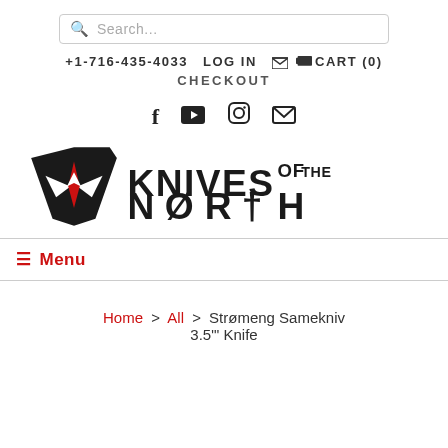Search...
+1-716-435-4033  LOG IN  CART (0)  CHECKOUT
[Figure (logo): Knives of the North logo with shield icon and stylized text]
Menu
Home > All > Strømeng Samekniv 3.5"' Knife